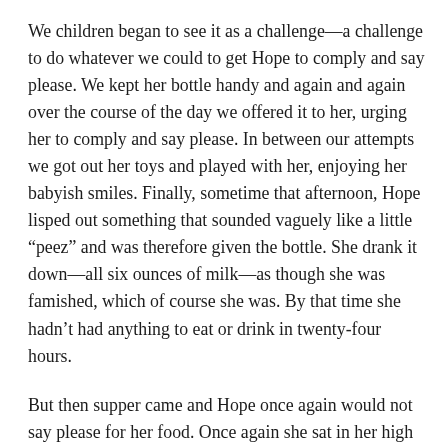We children began to see it as a challenge—a challenge to do whatever we could to get Hope to comply and say please. We kept her bottle handy and again and again over the course of the day we offered it to her, urging her to comply and say please. In between our attempts we got out her toys and played with her, enjoying her babyish smiles. Finally, sometime that afternoon, Hope lisped out something that sounded vaguely like a little “peez” and was therefore given the bottle. She drank it down—all six ounces of milk—as though she was famished, which of course she was. By that time she hadn’t had anything to eat or drink in twenty-four hours.
But then supper came and Hope once again would not say please for her food. Once again she sat in her high chair and watched us eat, unable to avoid the aroma—and my